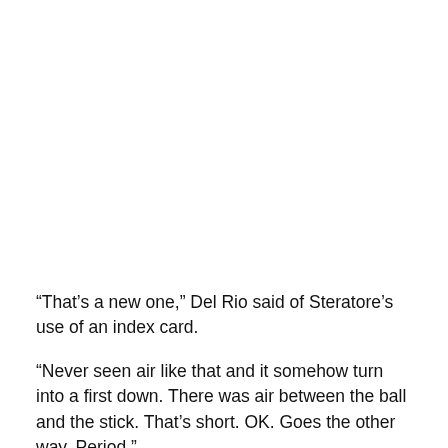“That’s a new one,” Del Rio said of Steratore’s use of an index card.
“Never seen air like that and it somehow turn into a first down. There was air between the ball and the stick. That’s short. OK. Goes the other way. Period.”